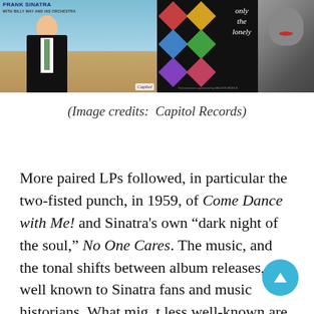[Figure (photo): Two Frank Sinatra album covers side by side: left is 'Come Fly with Me' on Capitol Records showing Sinatra in a suit against an airport/sky background; right is 'Only the Lonely' on Capitol Records showing diamond patterns and a clown-face portrait against a dark background.]
(Image credits:  Capitol Records)
More paired LPs followed, in particular the two-fisted punch, in 1959, of Come Dance with Me! and Sinatra's own “dark night of the soul,” No One Cares. The music, and the tonal shifts between album releases, are well known to Sinatra fans and music historians. What might less well-known are Sinatra’s behind-the-scenes